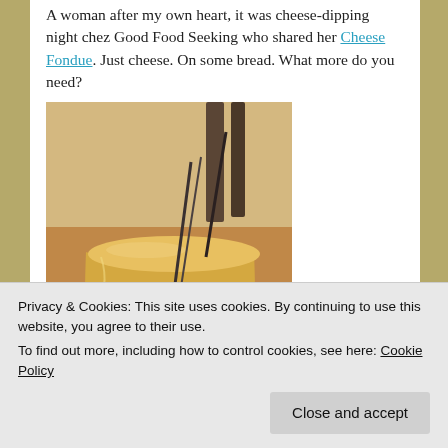A woman after my own heart, it was cheese-dipping night chez Good Food Seeking who shared her Cheese Fondue. Just cheese. On some bread. What more do you need?
[Figure (photo): Photo of a yellow ceramic pot with a spoon/whisk inside, containing what appears to be cheese fondue, sitting on a wooden surface]
Next up was some baking, as Food Jam shared her Cinnamon and Banana Muffin...
Privacy & Cookies: This site uses cookies. By continuing to use this website, you agree to their use.
To find out more, including how to control cookies, see here: Cookie Policy